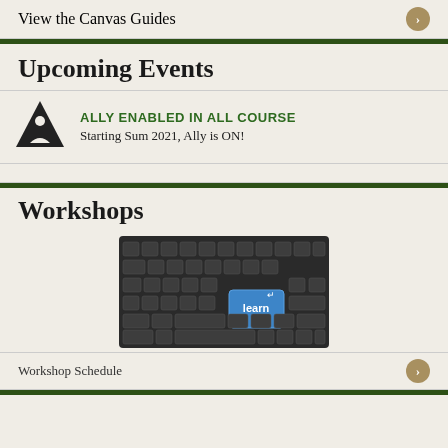View the Canvas Guides
Upcoming Events
ALLY ENABLED IN ALL COURSE
Starting Sum 2021, Ally is ON!
Workshops
[Figure (photo): Keyboard with a blue 'learn' key highlighted]
Workshop Schedule